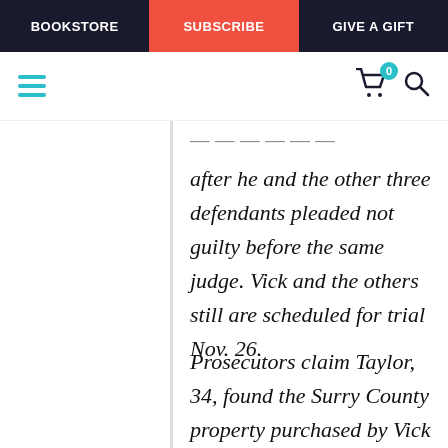BOOKSTORE | SUBSCRIBE | GIVE A GIFT
after he and the other three defendants pleaded not guilty before the same judge. Vick and the others still are scheduled for trial Nov. 26.
Prosecutors claim Taylor, 34, found the Surry County property purchased by Vick and used it as the site of "Bad Newz Kennels"